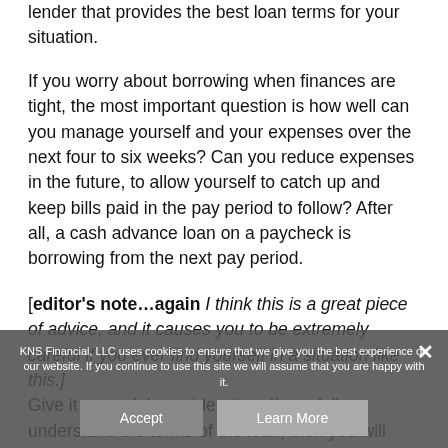lender that provides the best loan terms for your situation.
If you worry about borrowing when finances are tight, the most important question is how well can you manage yourself and your expenses over the next four to six weeks? Can you reduce expenses in the future, to allow yourself to catch up and keep bills paid in the pay period to follow? After all, a cash advance loan on a paycheck is borrowing from the next pay period.
[editor's note...again  I think this is a great piece of advice, and it causes you to be extremely careful if you ever find yourself in a situation like this.]
Give it prayerful consideration. If you fully understand the terms of the loan, then you will
KNS Financial, LLC uses cookies to ensure that we give you the best experience on our website. If you continue to use this site we will assume that you are happy with it.